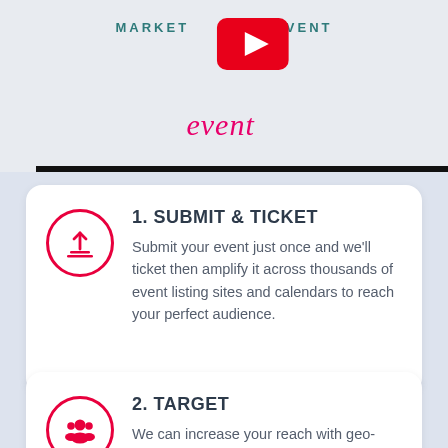[Figure (screenshot): YouTube video thumbnail with text 'MARKET YOUR EVENT' and stylized 'event' script text, YouTube play button icon visible]
1. SUBMIT & TICKET
Submit your event just once and we'll ticket then amplify it across thousands of event listing sites and calendars to reach your perfect audience.
2. TARGET
We can increase your reach with geo-location and category-specific tools designed to speak to your ideal